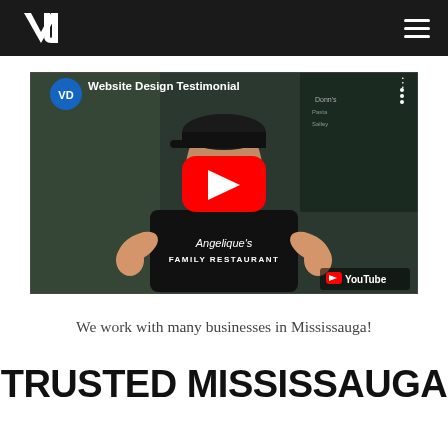Navigation bar with VD logo and hamburger menu
[Figure (screenshot): YouTube video thumbnail showing a man in an Angelique's Family Restaurant t-shirt with a YouTube play button overlay. Video title: 'Website Design Testimonial'. YouTube watermark in bottom right corner.]
We work with many businesses in Mississauga!
TRUSTED MISSISSAUGA